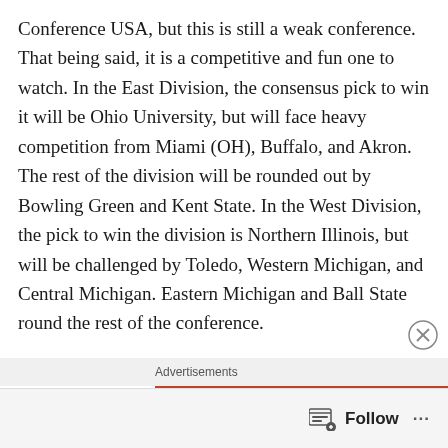Conference USA, but this is still a weak conference. That being said, it is a competitive and fun one to watch. In the East Division, the consensus pick to win it will be Ohio University, but will face heavy competition from Miami (OH), Buffalo, and Akron. The rest of the division will be rounded out by Bowling Green and Kent State. In the West Division, the pick to win the division is Northern Illinois, but will be challenged by Toledo, Western Michigan, and Central Michigan. Eastern Michigan and Ball State round the rest of the conference.
[Figure (screenshot): Advertisement banner for DuckDuckGo: orange background with text 'Search, browse, and email with more privacy.' and a phone image with DuckDuckGo logo]
Follow ...